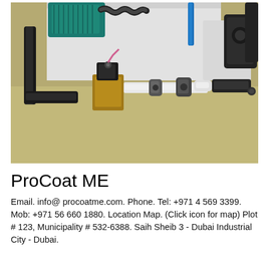[Figure (photo): Close-up photo of industrial pump/coating machine components including a teal electric motor, black corrugated cables, blue hose, brass solenoid valve, PVC pipes and union fittings on a beige/olive floor surface.]
ProCoat ME
Email. info@ procoatme.com. Phone. Tel: +971 4 569 3399. Mob: +971 56 660 1880. Location Map. (Click icon for map) Plot # 123, Municipality # 532-6388. Saih Sheib 3 - Dubai Industrial City - Dubai.